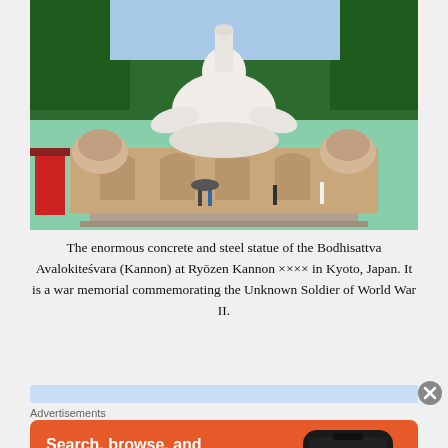[Figure (photo): Large white concrete and steel Bodhisattva Avalokitesvara (Kannon) statue at Ryozen Kannon in Kyoto, Japan, sitting in lotus position above a temple building with domed towers, set against a forested hillside.]
The enormous concrete and steel statue of the Bodhisattva Avalokiteśvara (Kannon) at Ryōzen Kannon ×××× in Kyoto, Japan. It is a war memorial commemorating the Unknown Soldier of World War II.
[Figure (screenshot): DuckDuckGo advertisement banner showing 'Search, browse, and email with more privacy. All in One Free App' with a phone image and DuckDuckGo logo on an orange background.]